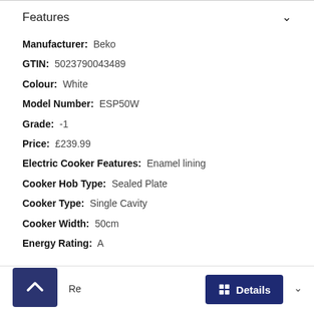Features
Manufacturer:  Beko
GTIN:  5023790043489
Colour:  White
Model Number:  ESP50W
Grade:  -1
Price:  £239.99
Electric Cooker Features:  Enamel lining
Cooker Hob Type:  Sealed Plate
Cooker Type:  Single Cavity
Cooker Width:  50cm
Energy Rating:  A
Re  Details